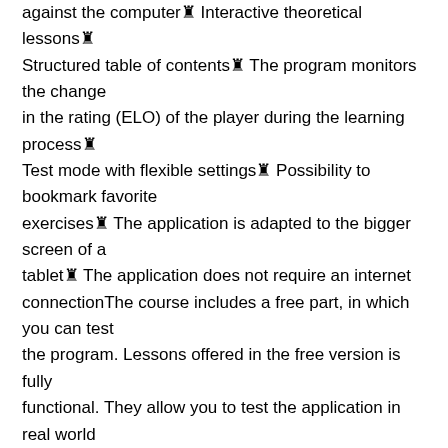against the computer♔ Interactive theoretical lessons♔ Structured table of contents♔ The program monitors the change in the rating (ELO) of the player during the learning process♔ Test mode with flexible settings♔ Possibility to bookmark favorite exercises♔ The application is adapted to the bigger screen of a tablet♔ The application does not require an internet connectionThe course includes a free part, in which you can test the program. Lessons offered in the free version is fully functional. They allow you to test the application in real world conditions before releasing the following topics:1. Chess Tactics in Sicilian Defense I1.1. Scheveningen variation1.2. Richter attack1.3. Dragon variation1.4. Najdorf variation2. Sicilian Defense - theory2.1. Scheveningen variation2.2. Richter attack2.3. Dragon variation2.4. Najdorf variation♦ 2♦<p>You know that old nineties game series nobody's talking about anymore?</p><p>No not Sonic, I mean Pokemon.</p> <p>Well Pokemon Sun and Moon have a new trailer, which looks